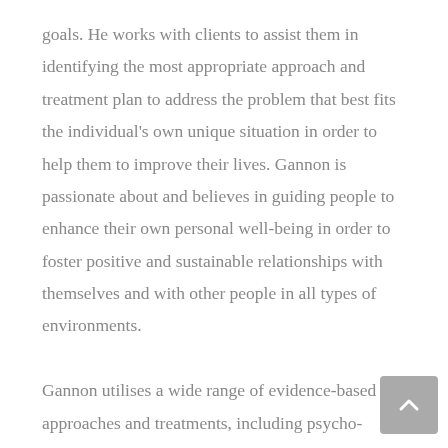goals. He works with clients to assist them in identifying the most appropriate approach and treatment plan to address the problem that best fits the individual's own unique situation in order to help them to improve their lives. Gannon is passionate about and believes in guiding people to enhance their own personal well-being in order to foster positive and sustainable relationships with themselves and with other people in all types of environments.

Gannon utilises a wide range of evidence-based approaches and treatments, including psycho-